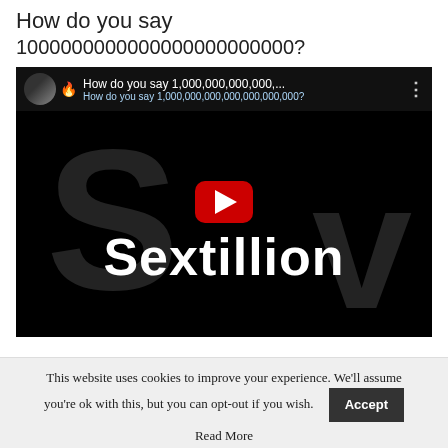How do you say
1000000000000000000000000?
[Figure (screenshot): YouTube video thumbnail showing the word 'Sextillion' in large white text on a black background, with a watermark of 'Sv' letters, a YouTube play button in the center, and a top bar showing the video title 'How do you say 1,000,000,000,000,... How do you say 1,000,000,000,000,000,000,000?' with a channel avatar and flame emoji.]
This website uses cookies to improve your experience. We'll assume you're ok with this, but you can opt-out if you wish.
Read More